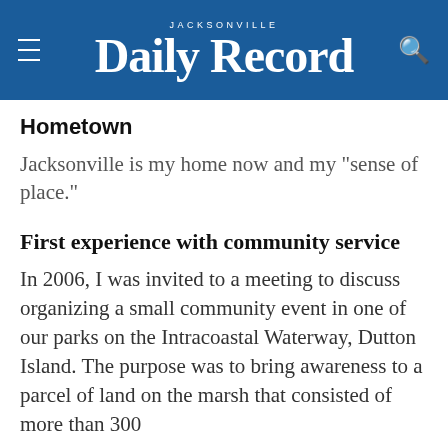JACKSONVILLE Daily Record
Hometown
Jacksonville is my home now and my "sense of place."
First experience with community service
In 2006, I was invited to a meeting to discuss organizing a small community event in one of our parks on the Intracoastal Waterway, Dutton Island. The purpose was to bring awareness to a parcel of land on the marsh that consisted of more than 300